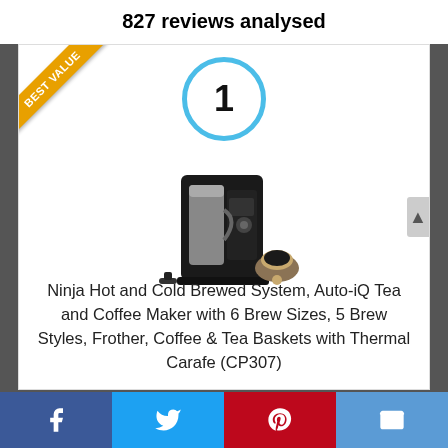827 reviews analysed
[Figure (photo): Product card showing a Ninja Hot and Cold Brewed System coffee maker with a Best Value ribbon badge and a number 1 ranking circle in blue]
Ninja Hot and Cold Brewed System, Auto-iQ Tea and Coffee Maker with 6 Brew Sizes, 5 Brew Styles, Frother, Coffee & Tea Baskets with Thermal Carafe (CP307)
Social share bar: Facebook, Twitter, Pinterest, Email